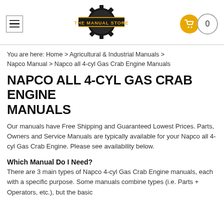[Figure (logo): The Manual Store logo — gear icon with 'THE MANUAL STORE' text on a black banner]
You are here: Home > Agricultural & Industrial Manuals > Napco Manual > Napco all 4-cyl Gas Crab Engine Manuals
NAPCO ALL 4-CYL GAS CRAB ENGINE MANUALS
Our manuals have Free Shipping and Guaranteed Lowest Prices. Parts, Owners and Service Manuals are typically available for your Napco all 4-cyl Gas Crab Engine. Please see availability below.
Which Manual Do I Need?
There are 3 main types of Napco 4-cyl Gas Crab Engine manuals, each with a specific purpose. Some manuals combine types (i.e. Parts + Operators, etc.), but the basic